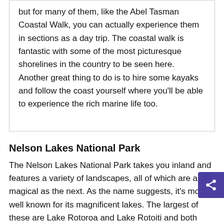but for many of them, like the Abel Tasman Coastal Walk, you can actually experience them in sections as a day trip. The coastal walk is fantastic with some of the most picturesque shorelines in the country to be seen here. Another great thing to do is to hire some kayaks and follow the coast yourself where you'll be able to experience the rich marine life too.
Nelson Lakes National Park
The Nelson Lakes National Park takes you inland and features a variety of landscapes, all of which are as magical as the next. As the name suggests, it's most well known for its magnificent lakes. The largest of these are Lake Rotoroa and Lake Rotoiti and both have beautifully pristine and incredibly clear waters. Within the 100,000 hectare park, there are many walking tracks of varying lengths as well as picnic spots, campsites and huts. The